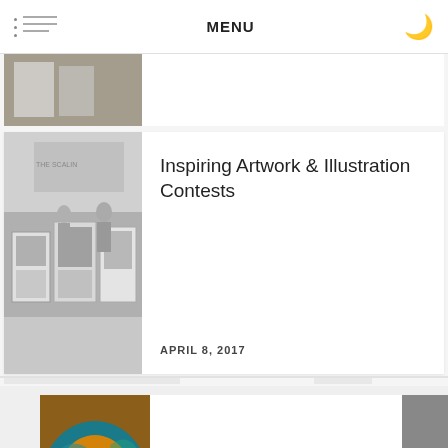MENU
[Figure (photo): Partially visible black and white photograph of an outdoor art exhibition]
[Figure (photo): Black and white photograph of an outdoor art exhibition with paintings displayed on easels and people browsing artwork on a city street]
Inspiring Artwork & Illustration Contests
APRIL 8, 2017
[Figure (photo): Color close-up photograph of hands working with clay on a pottery wheel with blue and orange swirls]
Arts, Leisure, Recreation Industry Insurance coverage